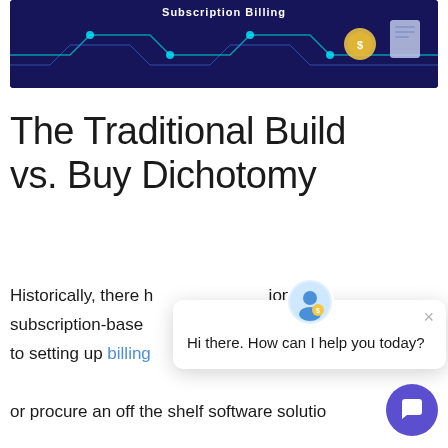[Figure (illustration): Hero banner image with dark navy blue background showing 'Subscription Billing' title text in white with teal/blue circuit-like graphic lines and icons on dark background]
The Traditional Build vs. Buy Dichotomy
Historically, there have been two options for subscription-based to setting up billing or procure an off the shelf software solution from a vendor.